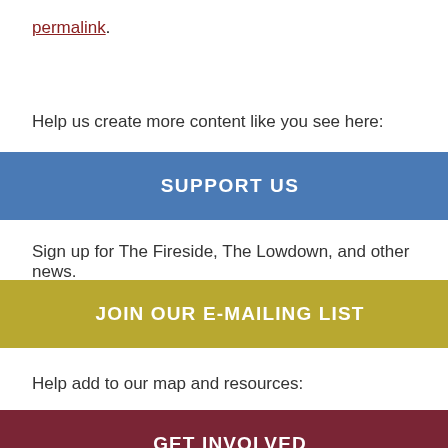permalink.
Help us create more content like you see here:
SUPPORT US
Sign up for The Fireside, The Lowdown, and other news.
JOIN OUR E-MAILING LIST
Help add to our map and resources:
GET INVOLVED